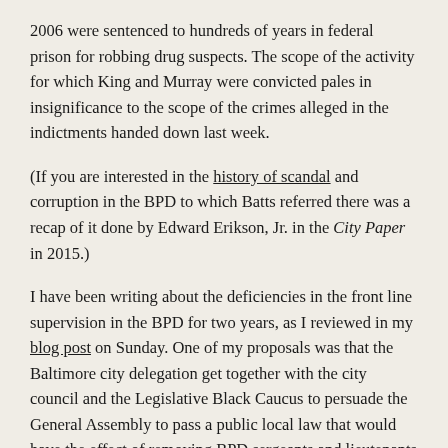2006 were sentenced to hundreds of years in federal prison for robbing drug suspects.  The scope of the activity for which King and Murray were convicted pales in insignificance to the scope of the crimes alleged in the indictments handed down last week.
(If you are interested in the history of scandal and corruption in the BPD to which Batts referred there was a recap of it done by Edward Erikson, Jr. in the City Paper in 2015.)
I have been writing about the deficiencies in the front line supervision in the BPD for two years, as I reviewed in my blog post on Sunday.  One of my proposals was that the Baltimore city delegation get together with the city council and the Legislative Black Caucus to persuade the General Assembly to pass a public local law that would have the effect of removing BPD sergeants and lieutenants from the LEOBR and therefore allow the Commissioner to move more quickly in replacing inadequate supervisors with adequate ones.  A bill like that affecting only the city might have a chance of getting passed.  Instead, city and state officials have gone off in various futile directions.